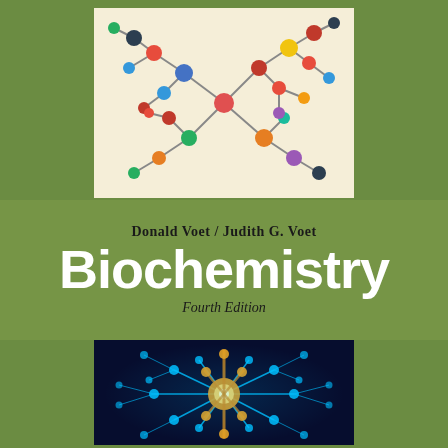[Figure (illustration): Colorful molecular ball-and-stick model on cream/white background with multi-colored spheres (red, blue, green, yellow, orange) connected by sticks]
Donald Voet / Judith G. Voet
Biochemistry
Fourth Edition
[Figure (illustration): Glowing blue molecular structure on dark navy background with gold/orange central molecule surrounded by cyan-blue radiating molecular chains]